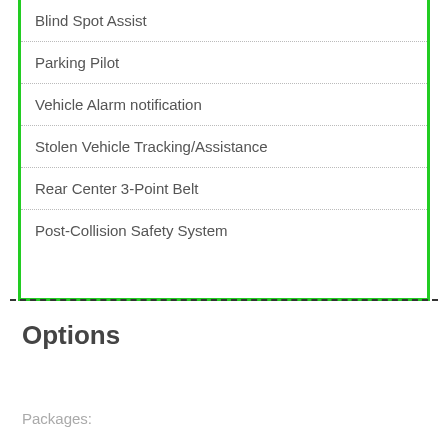Blind Spot Assist
Parking Pilot
Vehicle Alarm notification
Stolen Vehicle Tracking/Assistance
Rear Center 3-Point Belt
Post-Collision Safety System
Options
Packages: